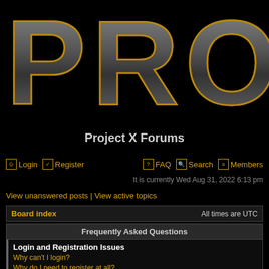[Figure (logo): Large 'PROJ' text logo in dark metallic style with gold outline on black background, partially cropped]
Project X Forums
Login | Register | FAQ | Search | Members
It is currently Wed Aug 31, 2022 6:13 pm
View unanswered posts | View active topics
Board index  All times are UTC
Frequently Asked Questions
Login and Registration Issues
Why can't I login?
Why do I need to register at all?
Why do I get logged off automatically?
How do I prevent my username appearing in the online user listings?
I've lost my password!
I registered but cannot login!